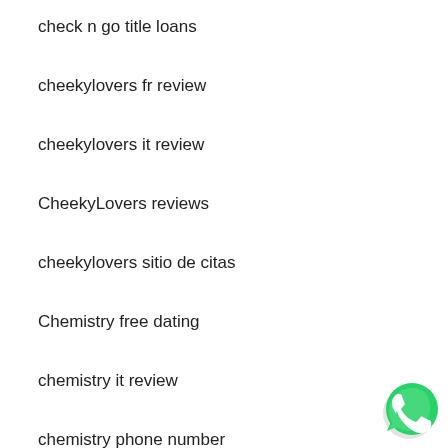check n go title loans
cheekylovers fr review
cheekylovers it review
CheekyLovers reviews
cheekylovers sitio de citas
Chemistry free dating
chemistry it review
chemistry phone number
chemistry review
chemistry-inceleme adult-dating
[Figure (logo): WhatsApp chat button icon in green and white]